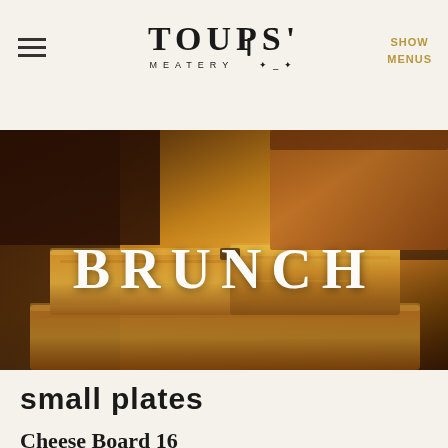TOUPS' MEATERY | SHOW MENUS
[Figure (photo): Stacked cornbread pieces photographed close-up with warm golden-brown tones, with the word BRUNCH overlaid in large white serif letters]
small plates
Cheese Board  16